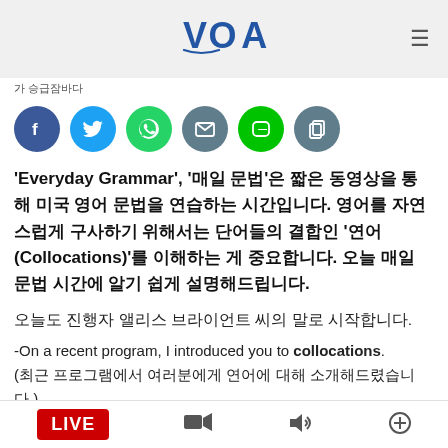VOA
가 승급잠바다
[Figure (infographic): Social media share buttons: Facebook (dark blue), Twitter (light blue), WhatsApp (green), Email (dark grey), Line (green), Copy (dark grey)]
'Everyday Grammar', '매일 문법'은 짧은 동영상을 통해 미국 영어 문법을 연습하는 시간입니다. 영어를 자연스럽게 구사하기 위해서는 단어들의 결합인 '연어(Collocations)'를 이해하는 게 중요합니다. 오늘 매일 문법 시간에 알기 쉽게 설명해드립니다.
오늘도 진행자 앨리스 브라이언트 씨의 말로 시작합니다.
-On a recent program, I introduced you to collocations. (최근 프로그램에서 여러분에게 연어에 대해 소개해드렸습니다.)
LIVE